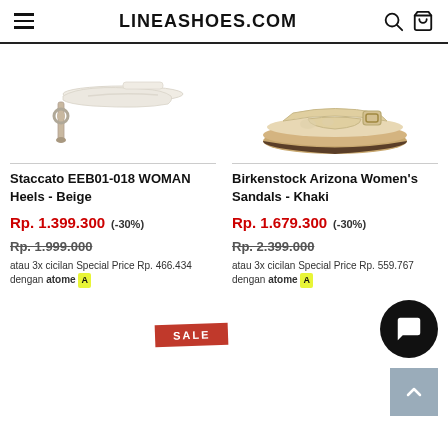LINEASHOES.COM
[Figure (photo): White stiletto heel sandal (Staccato EEB01-018 WOMAN Heels - Beige)]
[Figure (photo): Beige/khaki Birkenstock Arizona sandal with cork sole (Birkenstock Arizona Women's Sandals - Khaki)]
Staccato EEB01-018 WOMAN Heels - Beige
Rp. 1.399.300  (-30%)
Rp. 1.999.000
atau 3x cicilan Special Price Rp. 466.434 dengan atome
Birkenstock Arizona Women's Sandals - Khaki
Rp. 1.679.300  (-30%)
Rp. 2.399.000
atau 3x cicilan Special Price Rp. 559.767 dengan atome
SALE